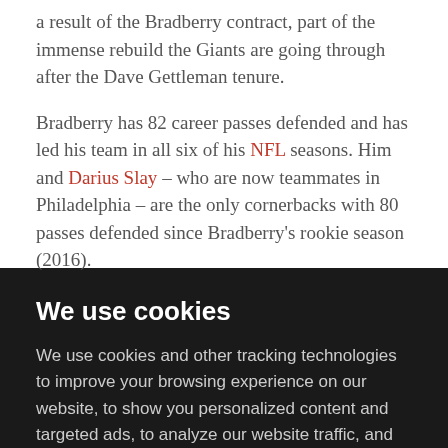a result of the Bradberry contract, part of the immense rebuild the Giants are going through after the Dave Gettleman tenure.
Bradberry has 82 career passes defended and has led his team in all six of his NFL seasons. Him and Darius Slay – who are now teammates in Philadelphia – are the only cornerbacks with 80 passes defended since Bradberry's rookie season (2016).
We use cookies
We use cookies and other tracking technologies to improve your browsing experience on our website, to show you personalized content and targeted ads, to analyze our website traffic, and